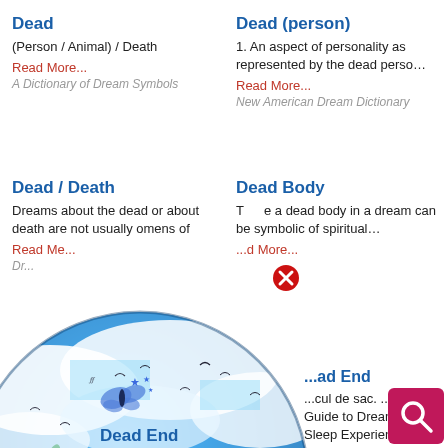Dead
(Person / Animal) / Death
Read More...
A Dictionary of Dream Symbols
Dead (person)
1. An aspect of personality as represented by the dead perso…
Read More...
New American Dream Dictionary
Dead / Death
Dreams about the dead or about death are not usually omens of
Read Mo...
Dr...
Dead Body
To see a dead body in a dream can be symbolic of spiritual…
...d More...
...istian Dream Symbols
...ad End
...cul de sac. ... A Guide to Dreams and Sleep Experiences
...d More...
...Guide to Dreams and Sleep Experiences
[Figure (illustration): Globe/earth with blue sky and clouds, overlaid with Dream Encyclopedia logo text]
Dead End